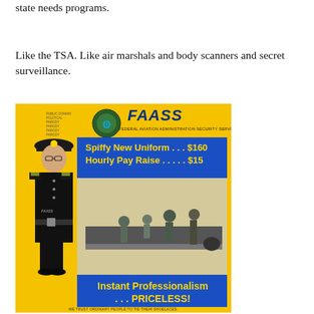state needs programs.
Like the TSA. Like air marshals and body scanners and secret surveillance.
[Figure (illustration): Satirical mock advertisement poster with yellow background. Shows a person in a dark military-style uniform and cap standing in front of an airport security scene. At the top: FAASS logo with text 'FEDERAL AVIATION ADMINISTRATION SECURITY SERVICE'. Blue banner reads: 'Spiffy New Uniform . . . $160 / Hourly Pay Raise . . . . . $15'. Bottom blue banner reads: 'Instant Professionalism . . . PRICELESS!'. Small text at the very bottom: 'WE TRUST ORDINARY PEOPLE TO TIE THEIR SHOELACES.']